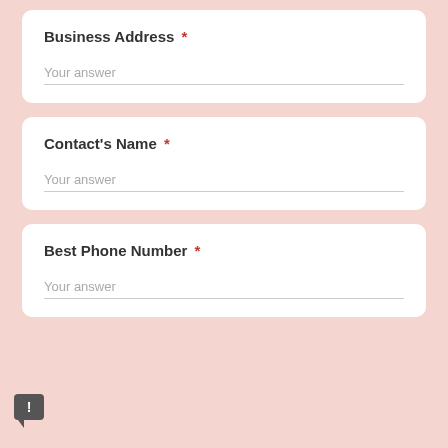Business Address *
Your answer
Contact's Name *
Your answer
Best Phone Number *
Your answer